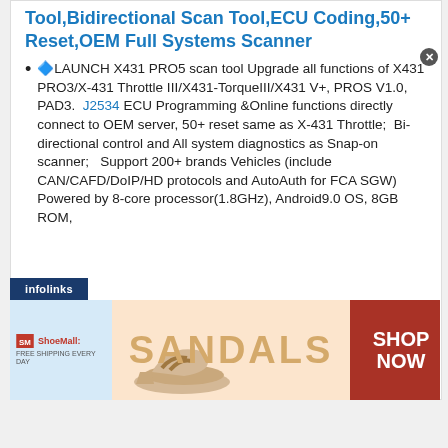Tool,Bidirectional Scan Tool,ECU Coding,50+ Reset,OEM Full Systems Scanner
🔷LAUNCH X431 PRO5 scan tool Upgrade all functions of X431 PRO3/X-431 Throttle III/X431-TorqueIII/X431 V+, PROS V1.0, PAD3. J2534 ECU Programming &Online functions directly connect to OEM server, 50+ reset same as X-431 Throttle; Bi-directional control and All system diagnostics as Snap-on scanner; Support 200+ brands Vehicles (include CAN/CAFD/DoIP/HD protocols and AutoAuth for FCA SGW) Powered by 8-core processor(1.8GHz), Android9.0 OS, 8GB ROM,
[Figure (screenshot): ShoeMall advertisement banner showing sandals with 'SHOP NOW' call to action]